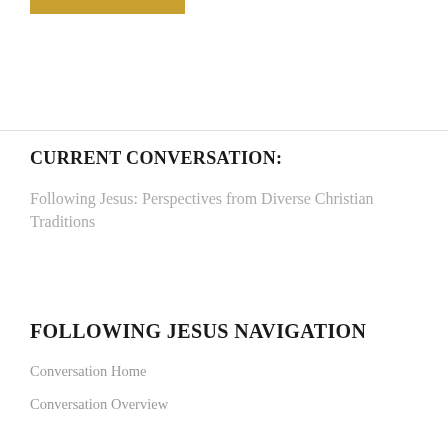[Figure (other): Gold/yellow horizontal bar decorative element at top left]
CURRENT CONVERSATION:
Following Jesus: Perspectives from Diverse Christian Traditions
FOLLOWING JESUS NAVIGATION
Conversation Home
Conversation Overview